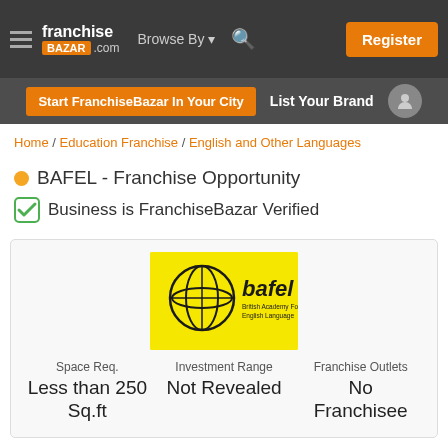franchise BAZAR .com | Browse By | Register
Start FranchiseBazar In Your City | List Your Brand
Home / Education Franchise / English and Other Languages
BAFEL - Franchise Opportunity
Business is FranchiseBazar Verified
[Figure (logo): BAFEL logo - yellow background with globe graphic and text 'bafel British Academy For English Language']
| Space Req. | Investment Range | Franchise Outlets |
| --- | --- | --- |
| Less than 250 Sq.ft | Not Revealed | No Franchisee |